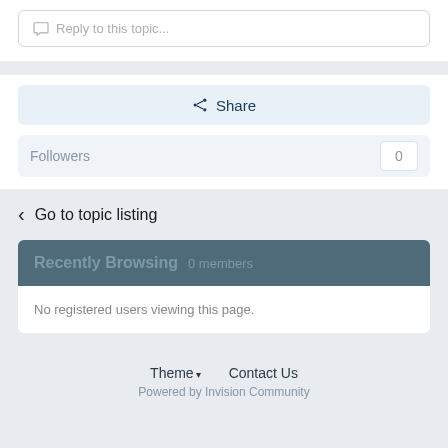Reply to this topic...
Share
Followers  0
Go to topic listing
Recently Browsing  0 members
No registered users viewing this page.
Theme  Contact Us
Powered by Invision Community